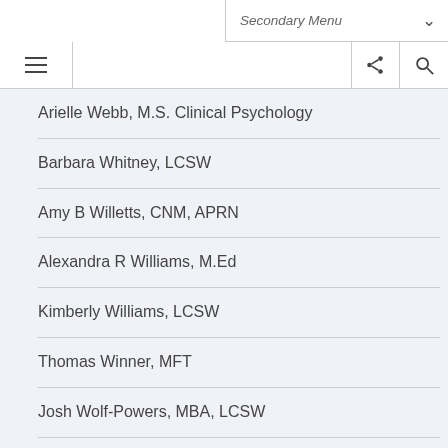Secondary Menu
Arielle Webb, M.S. Clinical Psychology
Barbara Whitney, LCSW
Amy B Willetts, CNM, APRN
Alexandra R Williams, M.Ed
Kimberly Williams, LCSW
Thomas Winner, MFT
Josh Wolf-Powers, MBA, LCSW
Elana Woolf, Elana Woolf
Sonia Wright, MD
Hajira Yasmin, MD FACOG